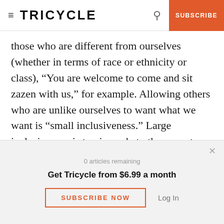TRICYCLE | SUBSCRIBE
those who are different from ourselves (whether in terms of race or ethnicity or class), “You are welcome to come and sit zazen with us,” for example. Allowing others who are unlike ourselves to want what we want is “small inclusiveness.” Large inclusiveness is to view what others want—even if it is radically different from our own needs and preferences—as deserving of equal respect.
0 articles remaining
Get Tricycle from $6.99 a month
SUBSCRIBE NOW
Log In